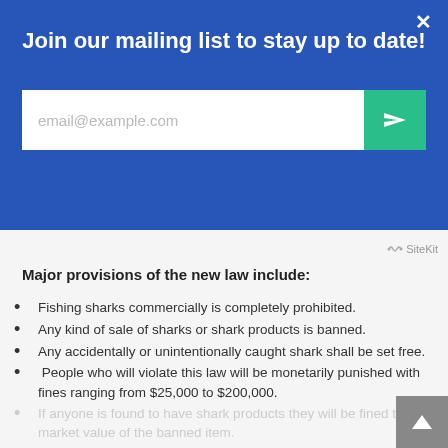Join our mailing list to stay up to date!
[Figure (screenshot): Email subscription form with input field for email@example.com and a teal submit button with arrow icon]
Major provisions of the new law include:
Fishing sharks commercially is completely prohibited.
Any kind of sale of sharks or shark products is banned.
Any accidentally or unintentionally caught shark shall be set free.
People who will violate this law will be monetarily punished with fines ranging from $25,000 to $200,000.
If anyone is found to have shark products they will be fined the market value of the banned item.